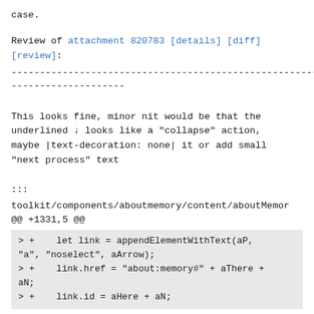case.
Review of attachment 820783 [details] [diff]
[review]:
------------------------------------------------------------------------
--------------------
This looks fine, minor nit would be that the
underlined ↓ looks like a "collapse" action,
maybe |text-decoration: none| it or add small
"next process" text
:::
toolkit/components/aboutmemory/content/aboutMemor
@@ +1331,5 @@
> +    let link = appendElementWithText(aP,
"a", "noselect", aArrow);
> +    link.href = "about:memory#" + aThere +
aN;
> +    link.id = aHere + aN;